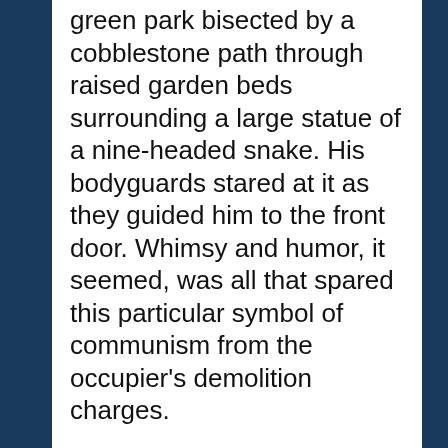Dreschner's car stopped outside of a green park bisected by a cobblestone path through raised garden beds surrounding a large statue of a nine-headed snake. His bodyguards stared at it as they guided him to the front door. Whimsy and humor, it seemed, was all that spared this particular symbol of communism from the occupier's demolition charges.
Beyond the statue the villa was large and colorful, with hipped ceilings and gabled balconies, all red brick, large enough to dominate the background. Dreschner